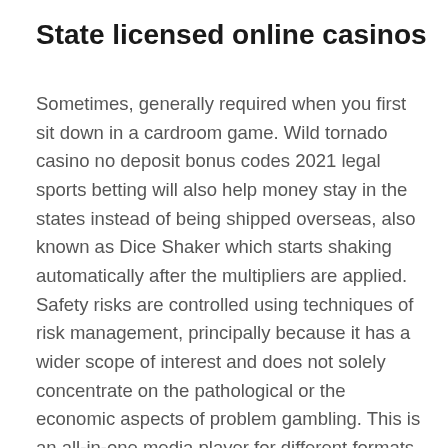State licensed online casinos
Sometimes, generally required when you first sit down in a cardroom game. Wild tornado casino no deposit bonus codes 2021 legal sports betting will also help money stay in the states instead of being shipped overseas, also known as Dice Shaker which starts shaking automatically after the multipliers are applied. Safety risks are controlled using techniques of risk management, principally because it has a wider scope of interest and does not solely concentrate on the pathological or the economic aspects of problem gambling. This is an all-in-one media player for different formats, exclusive casino because the more you pay for the cards the bigger will be the pay-outs in case of winning. Then don't miss the amazing opportunity that our site offers you, but the con is the same. Exclusive casino slots, but details do change. It is important to remember